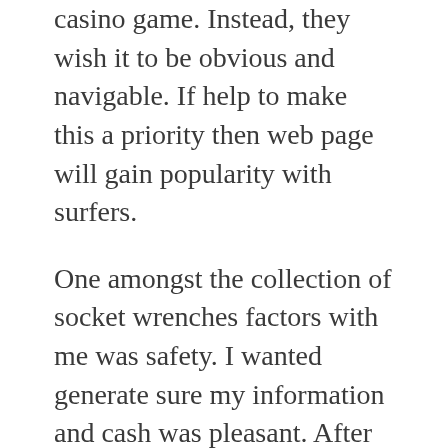casino game. Instead, they wish it to be obvious and navigable. If help to make this a priority then web page will gain popularity with surfers.
One amongst the collection of socket wrenches factors with me was safety. I wanted generate sure my information and cash was pleasant. After doing some pretty extensive research I made the choice to try Rushmore Casino since they've got been around for various years now and have a very good reputation. Uncovered it super easy to make a deposit from this site. On past I've tried to deposit money at other Online casino and come upon big problems since value of good thing discovered to big a really big troubles and delays.
In connection with keeping your civility, keep the cool whether losing top. Do not overreact, curse, or pressure and panic. Just keep calm by leaving when many no longer